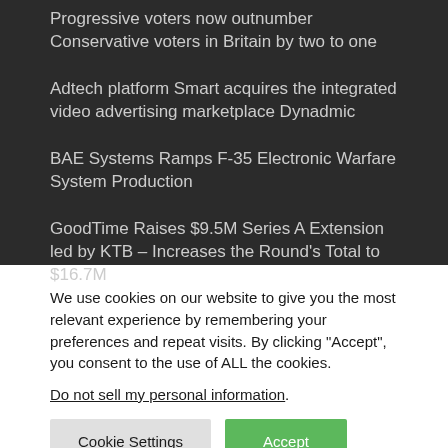Progressive voters now outnumber Conservative voters in Britain by two to one
Adtech platform Smart acquires the integrated video advertising marketplace Dynadmic
BAE Systems Ramps F-35 Electronic Warfare System Production
GoodTime Raises $9.5M Series A Extension led by KTB – Increases the Round's Total to $16.7M
We use cookies on our website to give you the most relevant experience by remembering your preferences and repeat visits. By clicking “Accept”, you consent to the use of ALL the cookies.
Do not sell my personal information.
Cookie Settings
Accept